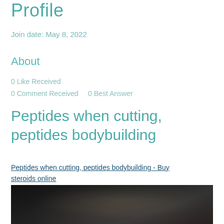Profile
Join date: May 8, 2022
About
0 Like Received
0 Comment Received    0 Best Answer
Peptides when cutting, peptides bodybuilding
Peptides when cutting, peptides bodybuilding - Buy steroids online
[Figure (photo): Dark blurred photo, likely of bodybuilding or fitness related content]